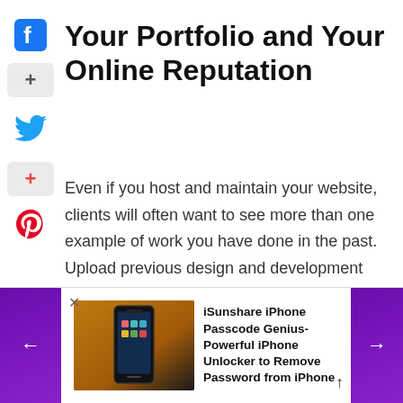[Figure (other): Social media share sidebar with Facebook icon, plus button, Twitter bird icon, red plus button, and Pinterest P icon]
Your Portfolio and Your Online Reputation
Even if you host and maintain your website, clients will often want to see more than one example of work you have done in the past. Upload previous design and development solutions that you have
[Figure (other): Advertisement/promo bar showing iPhone with text: iSunshare iPhone Passcode Genius- Powerful iPhone Unlocker to Remove Password from iPhone, with purple navigation buttons on left and right]